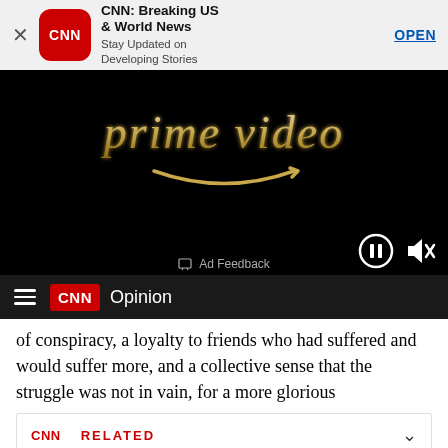[Figure (screenshot): CNN app advertisement banner with CNN logo icon, title 'CNN: Breaking US & World News', subtitle 'Stay Updated on Developing Stories', and an OPEN link button. An X close button is on the left.]
[Figure (screenshot): Amazon Prime Video advertisement showing the Prime Video logo text in golden/bronze styling on a black background, with the Amazon smile arrow below. Video playback controls (pause button and muted speaker icon) are visible at the bottom right, along with an 'Ad Feedback' label.]
[Figure (screenshot): CNN navigation bar with hamburger menu, CNN logo, and 'Opinion' section label on dark background.]
of conspiracy, a loyalty to friends who had suffered and would suffer more, and a collective sense that the struggle was not in vain, for a more glorious
[Figure (screenshot): CNN related article widget showing 'CNN RELATED' header and article title 'Opinion: Mikhail Gorbachev's haunting words on...' with a collapse chevron.]